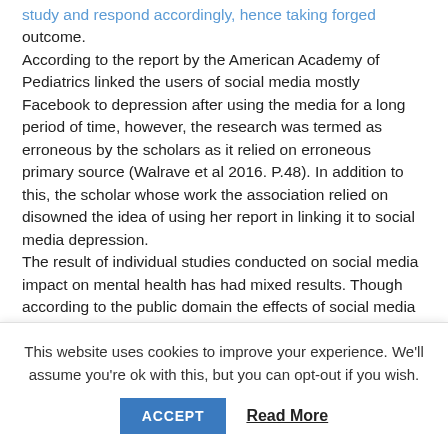study and respond accordingly, hence taking forged outcome. According to the report by the American Academy of Pediatrics linked the users of social media mostly Facebook to depression after using the media for a long period of time, however, the research was termed as erroneous by the scholars as it relied on erroneous primary source (Walrave et al 2016. P.48). In addition to this, the scholar whose work the association relied on disowned the idea of using her report in linking it to social media depression. The result of individual studies conducted on social media impact on mental health has had mixed results. Though according to the public domain the effects of social media suggests that mere exposure is related to mental health issues, the reliable evident puts more focus on the quality
This website uses cookies to improve your experience. We'll assume you're ok with this, but you can opt-out if you wish.